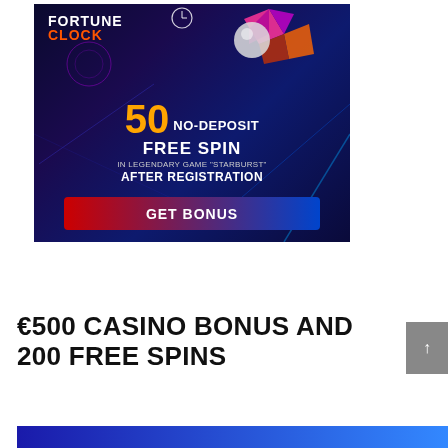[Figure (illustration): Fortune Clock casino advertisement banner with dark blue/purple background. Shows 'FORTUNE CLOCK' logo at top left with clock icon, decorative gem/crystal image top right, large orange '50' with white text 'NO-DEPOSIT FREE SPIN IN LEGENDARY GAME STARBURST AFTER REGISTRATION', and a red-to-blue gradient 'GET BONUS' button at bottom.]
€500 CASINO BONUS AND 200 FREE SPINS
[Figure (illustration): Bottom blue gradient banner, partially visible]